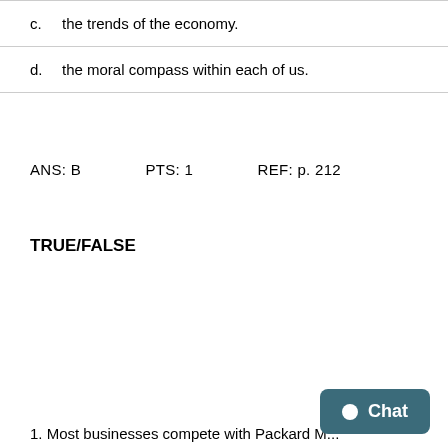c.   the trends of the economy.
d.   the moral compass within each of us.
ANS: B   PTS: 1   REF: p. 212
TRUE/FALSE
1. Most businesses compete with Packard M...